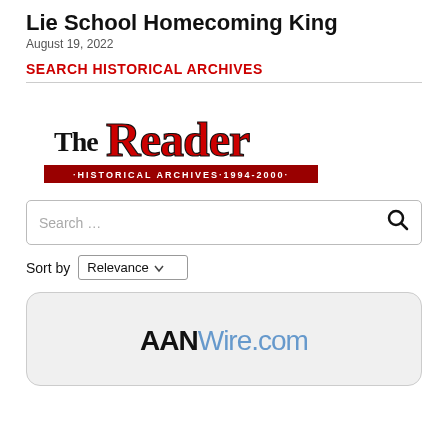Lie School Homecoming King
August 19, 2022
SEARCH HISTORICAL ARCHIVES
[Figure (logo): The Reader Historical Archives 1994-2000 logo with red serif Reader text and black The text, red banner with white text at bottom]
[Figure (screenshot): Search box with placeholder text 'Search ...' and search icon on right]
Sort by Relevance
[Figure (logo): AANWire.com logo with black bold AAN and blue Wire.com text on light gray card]